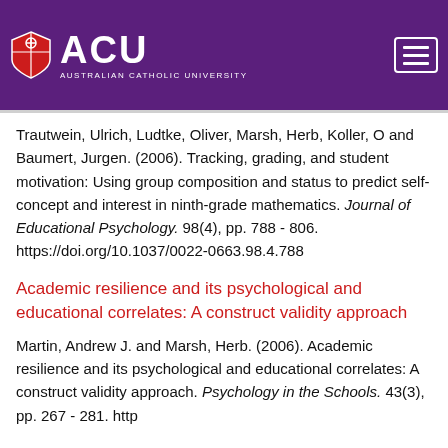[Figure (logo): Australian Catholic University (ACU) logo with shield and text on purple header background]
Trautwein, Ulrich, Ludtke, Oliver, Marsh, Herb, Koller, O and Baumert, Jurgen. (2006). Tracking, grading, and student motivation: Using group composition and status to predict self-concept and interest in ninth-grade mathematics. Journal of Educational Psychology. 98(4), pp. 788 - 806. https://doi.org/10.1037/0022-0663.98.4.788
Academic resilience and its psychological and educational correlates: A construct validity approach
Martin, Andrew J. and Marsh, Herb. (2006). Academic resilience and its psychological and educational correlates: A construct validity approach. Psychology in the Schools. 43(3), pp. 267 - 281. http